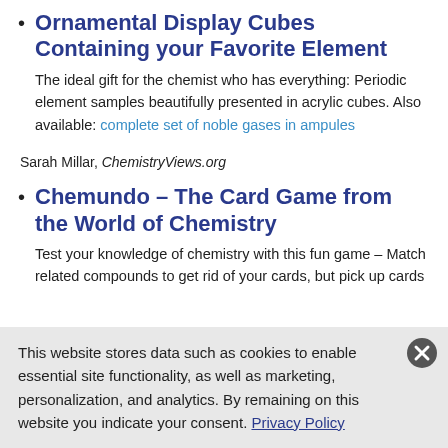Ornamental Display Cubes Containing your Favorite Element — The ideal gift for the chemist who has everything: Periodic element samples beautifully presented in acrylic cubes. Also available: complete set of noble gases in ampules
Sarah Millar, ChemistryViews.org
Chemundo – The Card Game from the World of Chemistry — Test your knowledge of chemistry with this fun game – Match related compounds to get rid of your cards, but pick up cards
This website stores data such as cookies to enable essential site functionality, as well as marketing, personalization, and analytics. By remaining on this website you indicate your consent. Privacy Policy